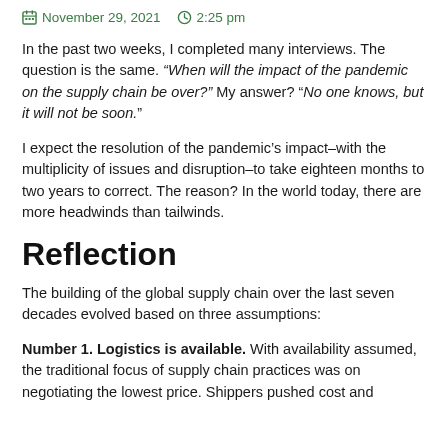November 29, 2021   2:25 pm
In the past two weeks, I completed many interviews. The question is the same. “When will the impact of the pandemic on the supply chain be over?” My answer? “No one knows, but it will not be soon.”
I expect the resolution of the pandemic’s impact–with the multiplicity of issues and disruption–to take eighteen months to two years to correct. The reason? In the world today, there are more headwinds than tailwinds.
Reflection
The building of the global supply chain over the last seven decades evolved based on three assumptions:
Number 1. Logistics is available. With availability assumed, the traditional focus of supply chain practices was on negotiating the lowest price. Shippers pushed cost and